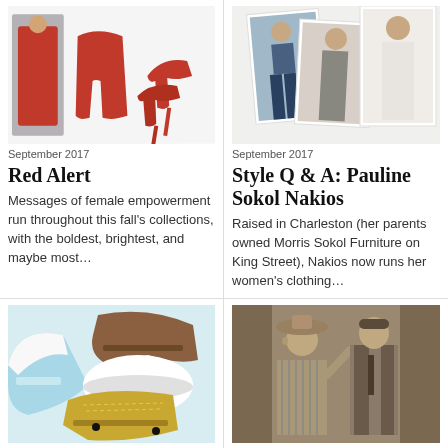[Figure (photo): Red fashion items including a woman in red dress, red trousers, and red heeled sandals]
September 2017
Red Alert
Messages of female empowerment run throughout this fall's collections, with the boldest, brightest, and maybe most...
[Figure (photo): Three overlapping photos of women in casual fashion - jeans and sweater styles]
September 2017
Style Q & A: Pauline Sokol Nakios
Raised in Charleston (her parents owned Morris Sokol Furniture on King Street), Nakios now runs her women's clothing...
[Figure (photo): Close-up of various shoes including light blue sneakers, brown shoes, and gold glitter sneakers]
March 2017
Kick Start...
[Figure (photo): Vintage black and white photo of a man and woman, woman wearing a hat]
March 2017
Model Citi...